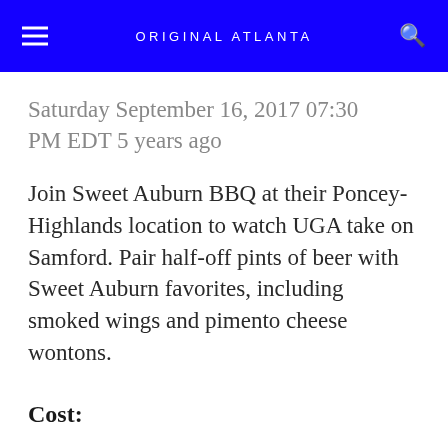ORIGINAL ATLANTA
Saturday September 16, 2017 07:30 PM EDT 5 years ago
Join Sweet Auburn BBQ at their Poncey-Highlands location to watch UGA take on Samford. Pair half-off pints of beer with Sweet Auburn favorites, including smoked wings and pimento cheese wontons.
Cost: